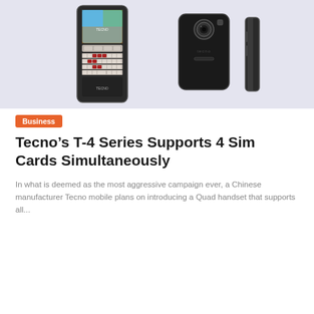[Figure (photo): Three views of Tecno mobile phones on a light purple/blue background: a front-facing QWERTY keyboard phone (Tecno T-4 series) on the left, a back view of a smartphone in the center, and a side profile view on the right.]
Business
Tecno’s T-4 Series Supports 4 Sim Cards Simultaneously
In what is deemed as the most aggressive campaign ever, a Chinese manufacturer Tecno mobile plans on introducing a Quad handset that supports all...